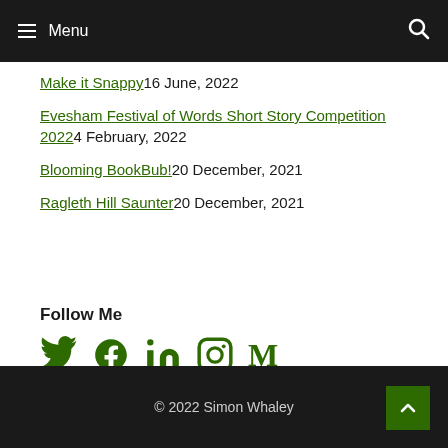Menu
Make it Snappy 16 June, 2022
Evesham Festival of Words Short Story Competition 2022 4 February, 2022
Blooming BookBub! 20 December, 2021
Ragleth Hill Saunter 20 December, 2021
Follow Me
[Figure (infographic): Social media icons: Twitter, Facebook, LinkedIn, Instagram, Medium — all in dark green]
© 2022 Simon Whaley